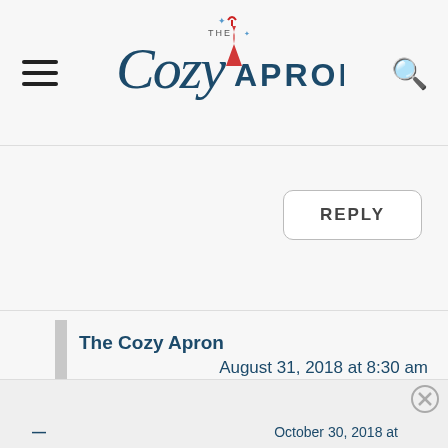The Cozy Apron — site header with logo, hamburger menu, search icon
REPLY
The Cozy Apron
August 31, 2018 at 8:30 am
Thanks, Karly! Hope you enjoy!
REPLY
(x) [bottom ad bar with partial next comment preview]